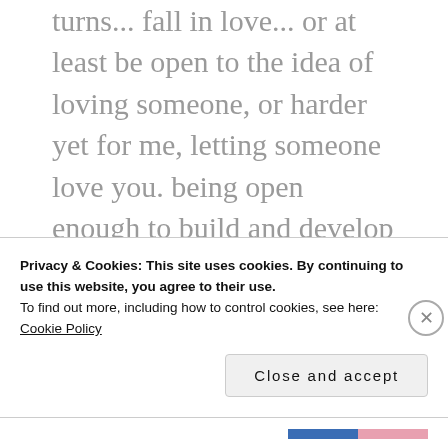turns... fall in love... or at least be open to the idea of loving someone, or harder yet for me, letting someone love you. being open enough to build and develop relationships with friends and those in your community. these adventures maybe the hardest ones for myself. to be vulnerable enough to build long-lasting relationships. i've always had really good friends. but it is hard for me to truly
Privacy & Cookies: This site uses cookies. By continuing to use this website, you agree to their use.
To find out more, including how to control cookies, see here:
Cookie Policy
Close and accept